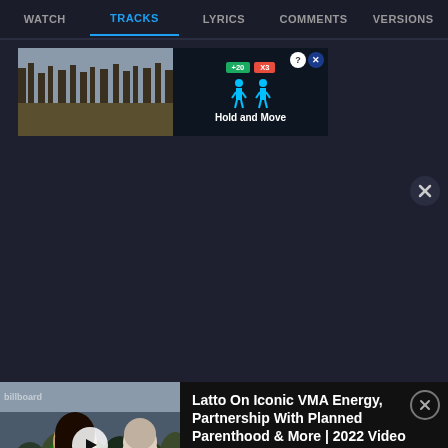WATCH | TRACKS | LYRICS | COMMENTS | VERSIONS
[Figure (screenshot): Advertisement banner for a mobile game showing 'Hold and Move' with two pixel-art figures and score indicators +20 and X3]
[Figure (screenshot): Dark background main content area with a circular close (X) button on the right side]
[Figure (photo): Thumbnail of Latto at VMAs wearing green, with crowd in background and Billboard logo]
Latto On Iconic VMA Energy, Partnership With Planned Parenthood & More | 2022 Video Music Awards